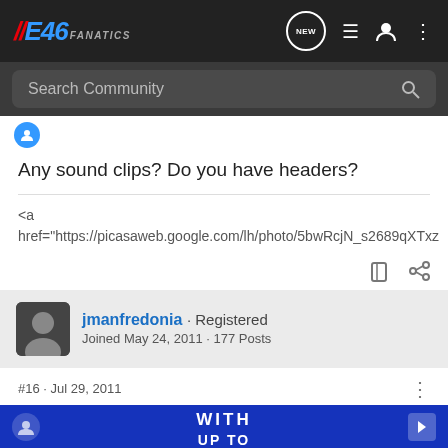IIE46 FANATICS
Search Community
Any sound clips? Do you have headers?
<a
href="https://picasaweb.google.com/lh/photo/5bwRcjN_s2689qXTxz
jmanfredonia · Registered
Joined May 24, 2011 · 177 Posts
#16 · Jul 29, 2011
i dont ha...ght now